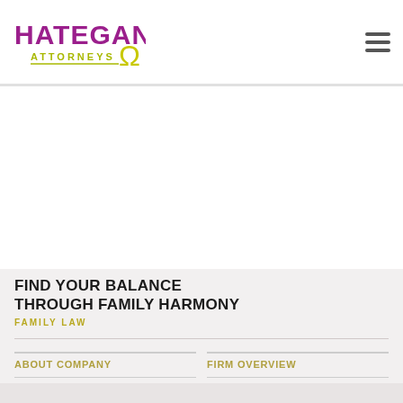[Figure (logo): Hategan Attorneys logo with purple/magenta text and yellow-green omega symbol]
FIND YOUR BALANCE THROUGH FAMILY HARMONY
FAMILY LAW
ABOUT COMPANY
FIRM OVERVIEW